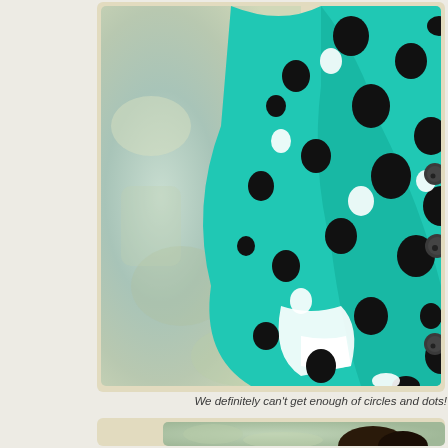[Figure (photo): Close-up of a teal/turquoise polka dot dress with large black and white dots and dark buttons, against a weathered teal wall background]
We definitely can't get enough of circles and dots!
[Figure (photo): Partial view of a person with dark hair, against a similar teal/green textured background, bottom of page]